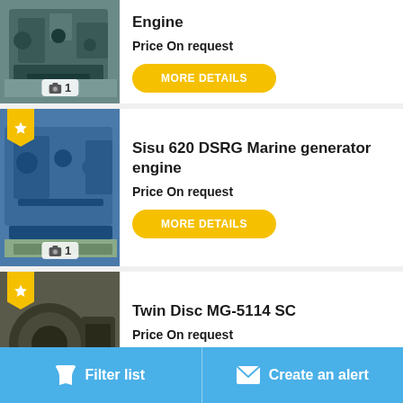[Figure (photo): Industrial marine engine, dark/teal colored, mounted on a stand. Photo count badge showing camera icon and 1.]
Engine
Price On request
MORE DETAILS
[Figure (photo): Sisu 620 DSRG Marine generator engine, blue colored, mounted on wooden pallet. Yellow star favorite badge. Photo count badge showing camera icon and 1.]
Sisu 620 DSRG Marine generator engine
Price On request
MORE DETAILS
[Figure (photo): Twin Disc MG-5114 SC marine gearbox/transmission unit, dark olive/black color. Yellow star favorite badge.]
Twin Disc MG-5114 SC
Price On request
MORE DETAILS
Filter list   Create an alert